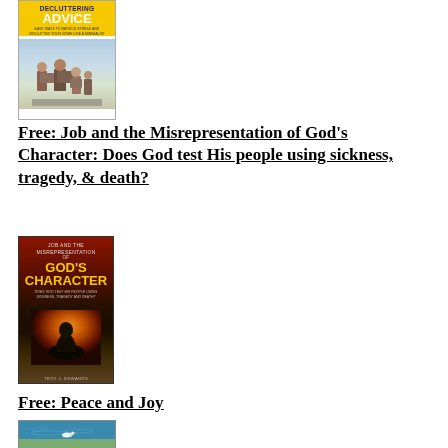[Figure (photo): Book cover for a decluttering advice book with yellow background and image of family moving boxes]
Free: Job and the Misrepresentation of God's Character: Does God test His people using sickness, tragedy, & death?
[Figure (photo): Book cover for 'Job and the Misrepresentation of God's Character' with dark background showing fire and a hooded figure, authored by Troy J. Edwards]
Free: Peace and Joy
[Figure (photo): Book cover for Peace and Joy showing a bird on water with blue and green tones]